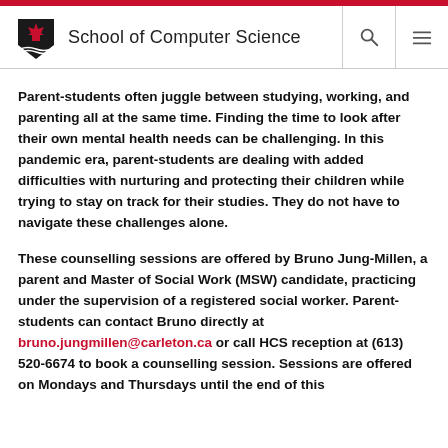School of Computer Science
Parent-students often juggle between studying, working, and parenting all at the same time. Finding the time to look after their own mental health needs can be challenging. In this pandemic era, parent-students are dealing with added difficulties with nurturing and protecting their children while trying to stay on track for their studies. They do not have to navigate these challenges alone.
These counselling sessions are offered by Bruno Jung-Millen, a parent and Master of Social Work (MSW) candidate, practicing under the supervision of a registered social worker. Parent-students can contact Bruno directly at bruno.jungmillen@carleton.ca or call HCS reception at (613) 520-6674 to book a counselling session. Sessions are offered on Mondays and Thursdays until the end of this